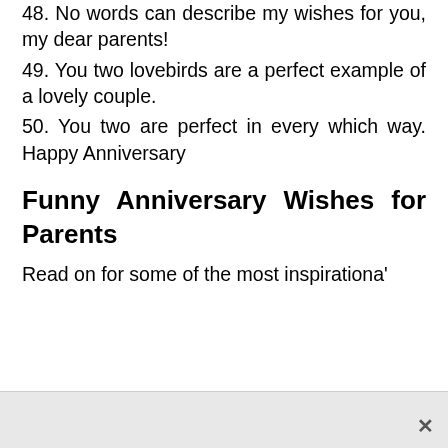48. No words can describe my wishes for you, my dear parents!
49. You two lovebirds are a perfect example of a lovely couple.
50. You two are perfect in every which way. Happy Anniversary
Funny Anniversary Wishes for Parents
Read on for some of the most inspirationa'…